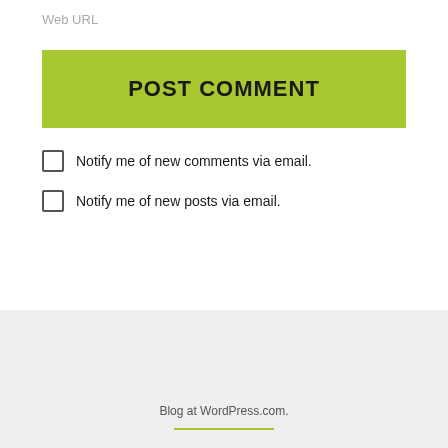Web URL
POST COMMENT
Notify me of new comments via email.
Notify me of new posts via email.
Blog at WordPress.com.